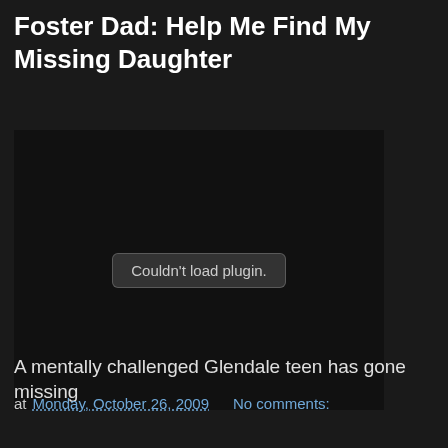Foster Dad: Help Me Find My Missing Daughter
[Figure (other): Embedded media plugin area showing 'Couldn't load plugin.' message on dark background]
A mentally challenged Glendale teen has gone missing
at Monday, October 26, 2009   No comments:
Share